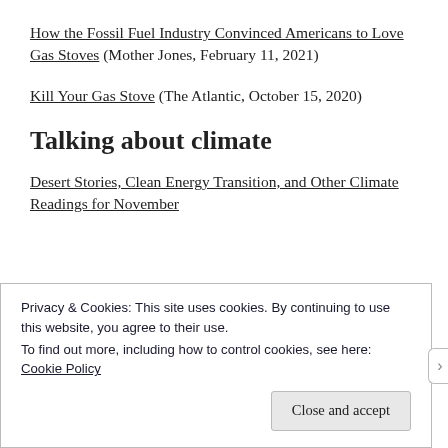How the Fossil Fuel Industry Convinced Americans to Love Gas Stoves (Mother Jones, February 11, 2021)
Kill Your Gas Stove (The Atlantic, October 15, 2020)
Talking about climate
Desert Stories, Clean Energy Transition, and Other Climate Readings for November
Privacy & Cookies: This site uses cookies. By continuing to use this website, you agree to their use.
To find out more, including how to control cookies, see here: Cookie Policy